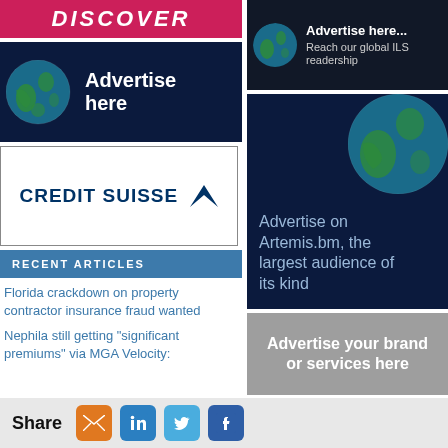[Figure (logo): Discover banner in crimson/pink with white italic bold text]
[Figure (advertisement): Dark navy ad banner with Earth globe image and 'Advertise here' text]
[Figure (logo): Credit Suisse logo in bordered white box]
RECENT ARTICLES
Florida crackdown on property contractor insurance fraud wanted
Nephila still getting "significant premiums" via MGA Velocity:
[Figure (advertisement): Small dark ad: globe image left, 'Advertise here... Reach our global ILS readership']
[Figure (advertisement): Large dark navy ad with Earth globe: 'Advertise on Artemis.bm, the largest audience of its kind']
[Figure (advertisement): Gray ad box: 'Advertise your brand or services here']
SUBSCRIBE TO ARTEMIS
Share